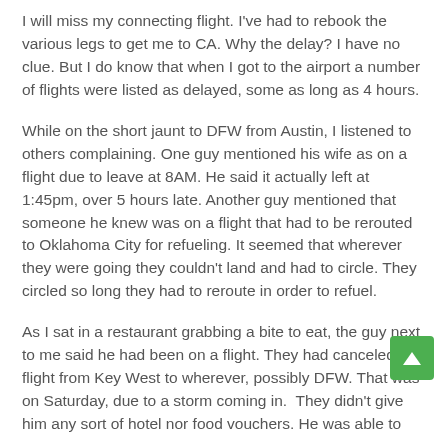I will miss my connecting flight. I've had to rebook the various legs to get me to CA. Why the delay? I have no clue. But I do know that when I got to the airport a number of flights were listed as delayed, some as long as 4 hours.
While on the short jaunt to DFW from Austin, I listened to others complaining. One guy mentioned his wife as on a flight due to leave at 8AM. He said it actually left at 1:45pm, over 5 hours late. Another guy mentioned that someone he knew was on a flight that had to be rerouted to Oklahoma City for refueling. It seemed that wherever they were going they couldn't land and had to circle. They circled so long they had to reroute in order to refuel.
As I sat in a restaurant grabbing a bite to eat, the guy next to me said he had been on a flight. They had canceled the flight from Key West to wherever, possibly DFW. That was on Saturday, due to a storm coming in. They didn't give him any sort of hotel nor food vouchers. He was able to